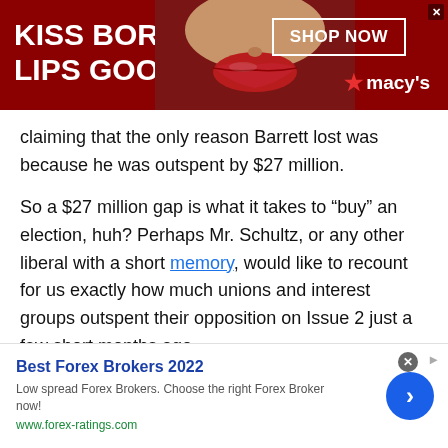[Figure (illustration): Red advertisement banner for Macy's with text 'KISS BORING LIPS GOODBYE', a woman's face/lips photo in center, 'SHOP NOW' button, and Macy's star logo.]
claiming that the only reason Barrett lost was because he was outspent by $27 million.
So a $27 million gap is what it takes to “buy” an election, huh? Perhaps Mr. Schultz, or any other liberal with a short memory, would like to recount for us exactly how much unions and interest groups outspent their opposition on Issue 2 just a few short months ago…
Oh, right. That was a $30 million disparity.
By Ed Schultz’s own logic, unions bought the election last
[Figure (illustration): Bottom advertisement banner: Best Forex Brokers 2022. Low spread Forex Brokers. Choose the right Forex Broker now! www.forex-ratings.com. Blue circle arrow button on right.]